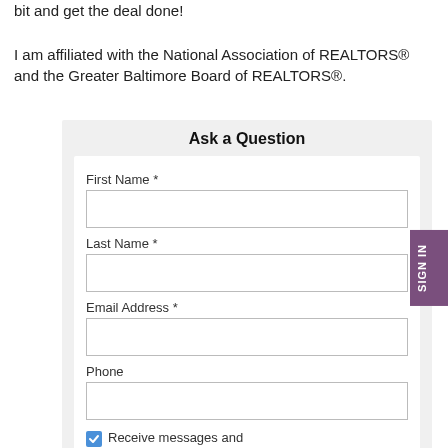bit and get the deal done!

I am affiliated with the National Association of REALTORS® and the Greater Baltimore Board of REALTORS®.
Ask a Question
First Name *
Last Name *
Email Address *
Phone
Receive messages and notifications via SMS